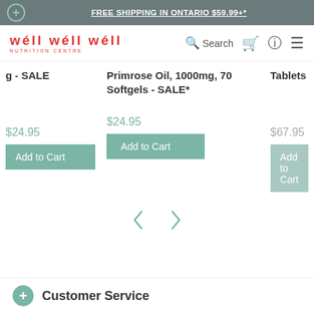FREE SHIPPING IN ONTARIO $59.99+*
[Figure (logo): Well Well Well Nutrition Centre logo in red]
Search
Primrose Oil, 1000mg, 70 Softgels - SALE*
Tablets
$24.95
$67.95
Add to Cart
Add to Cart
Customer Service
Social media